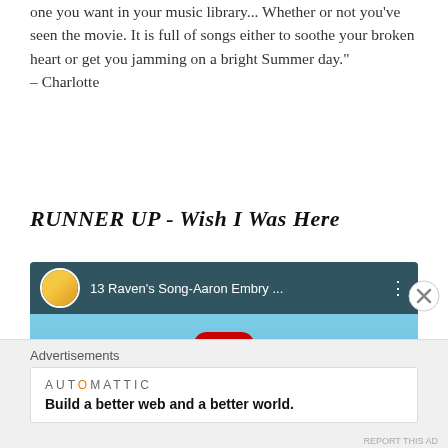one you want in your music library... Whether or not you've seen the movie. It is full of songs either to soothe your broken heart or get you jamming on a bright Summer day." – Charlotte
RUNNER UP - Wish I Was Here
[Figure (screenshot): YouTube video embed showing '13 Raven's Song-Aaron Embry ...' with a play button, avatar thumbnail of a person in a Pikachu hat, and movie collage background from Wish I Was Here]
[Figure (other): Close (X) button circle in bottom right corner]
Advertisements
AUTOMATTIC
Build a better web and a better world.
REPORT THIS AD